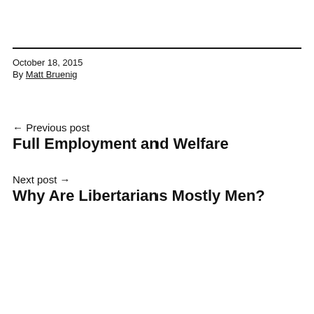October 18, 2015
By Matt Bruenig
← Previous post
Full Employment and Welfare
Next post →
Why Are Libertarians Mostly Men?